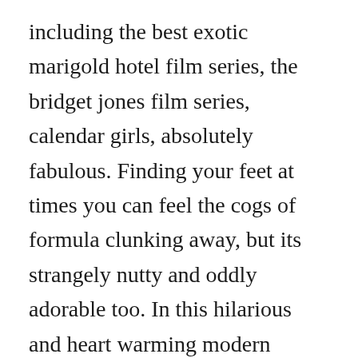including the best exotic marigold hotel film series, the bridget jones film series, calendar girls, absolutely fabulous. Finding your feet at times you can feel the cogs of formula clunking away, but its strangely nutty and oddly adorable too. In this hilarious and heart warming modern comedy, a colourful group of defiant and energetic baby boomers. Finding your feet is released nationwide on 23 rd february 2018. Rent finding your feet 2018 on dvd and bluray netflix. Police believe it was simply a collision, since the group went about the water to host. Finding your feet is